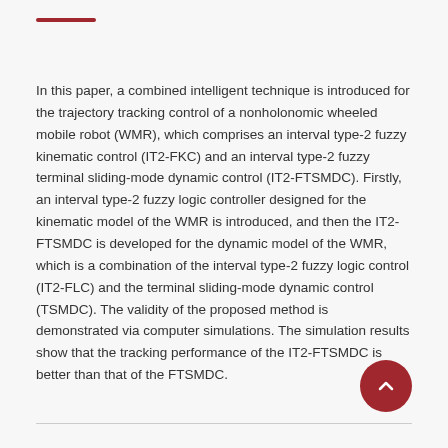In this paper, a combined intelligent technique is introduced for the trajectory tracking control of a nonholonomic wheeled mobile robot (WMR), which comprises an interval type-2 fuzzy kinematic control (IT2-FKC) and an interval type-2 fuzzy terminal sliding-mode dynamic control (IT2-FTSMDC). Firstly, an interval type-2 fuzzy logic controller designed for the kinematic model of the WMR is introduced, and then the IT2-FTSMDC is developed for the dynamic model of the WMR, which is a combination of the interval type-2 fuzzy logic control (IT2-FLC) and the terminal sliding-mode dynamic control (TSMDC). The validity of the proposed method is demonstrated via computer simulations. The simulation results show that the tracking performance of the IT2-FTSMDC is better than that of the FTSMDC.